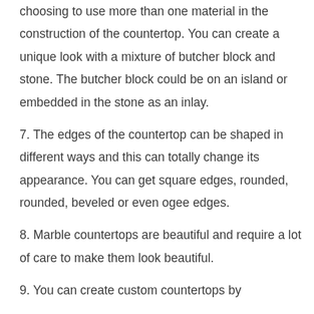choosing to use more than one material in the construction of the countertop. You can create a unique look with a mixture of butcher block and stone. The butcher block could be on an island or embedded in the stone as an inlay.
7. The edges of the countertop can be shaped in different ways and this can totally change its appearance. You can get square edges, rounded, rounded, beveled or even ogee edges.
8. Marble countertops are beautiful and require a lot of care to make them look beautiful.
9. You can create custom countertops by